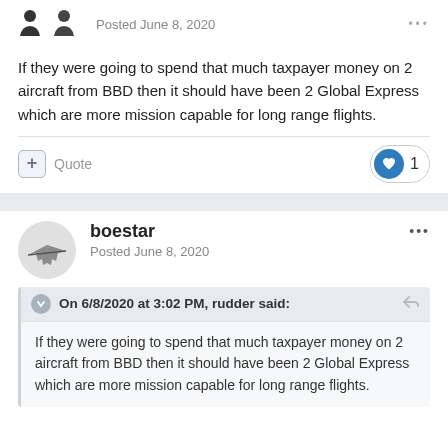Posted June 8, 2020
If they were going to spend that much taxpayer money on 2 aircraft from BBD then it should have been 2 Global Express which are more mission capable for long range flights.
Quote   1
boestar
Posted June 8, 2020
On 6/8/2020 at 3:02 PM, rudder said:
If they were going to spend that much taxpayer money on 2 aircraft from BBD then it should have been 2 Global Express which are more mission capable for long range flights.